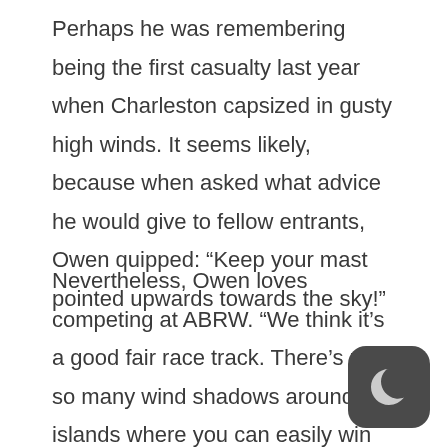Perhaps he was remembering being the first casualty last year when Charleston capsized in gusty high winds. It seems likely, because when asked what advice he would give to fellow entrants, Owen quipped: “Keep your mast pointed upwards towards the sky!”
Nevertheless, Owen loves competing at ABRW. “We think it’s a good fair race track. There’s not so many wind shadows around the islands where you can easily win or lose races, it’s still tricky enough on Pioneer Bay with lots of shifts,” the